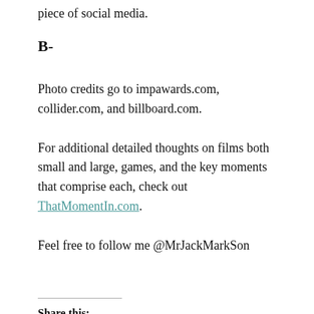piece of social media.
B-
Photo credits go to impawards.com, collider.com, and billboard.com.
For additional detailed thoughts on films both small and large, games, and the key moments that comprise each, check out ThatMomentIn.com.
Feel free to follow me @MrJackMarkSon
Share this:
Twitter Facebook